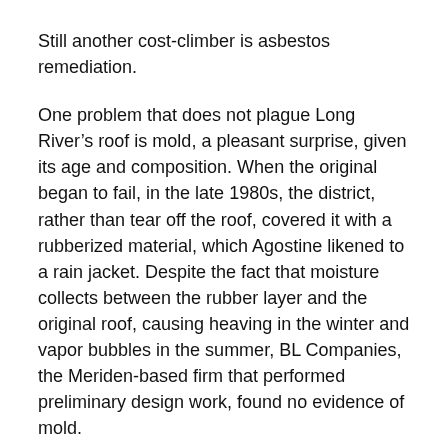Still another cost-climber is asbestos remediation.
One problem that does not plague Long River’s roof is mold, a pleasant surprise, given its age and composition. When the original began to fail, in the late 1980s, the district, rather than tear off the roof, covered it with a rubberized material, which Agostine likened to a rain jacket. Despite the fact that moisture collects between the rubber layer and the original roof, causing heaving in the winter and vapor bubbles in the summer, BL Companies, the Meriden-based firm that performed preliminary design work, found no evidence of mold.
However, there are other signs of damage to the building, according to Long River Principal Jayne Lanphear. Positioning five-gallon buckets under leaks is standard procedure during a storm, she says. After a particularly heavy